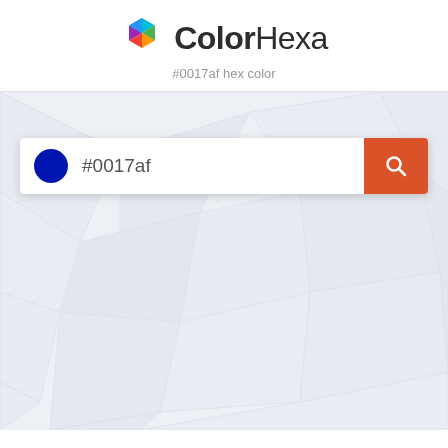ColorHexa
#0017af hex color
[Figure (screenshot): Search interface showing a color swatch circle in #0017af blue, a text input with '#0017af', and an orange-red search button with a magnifying glass icon, on a geometric polygon background.]